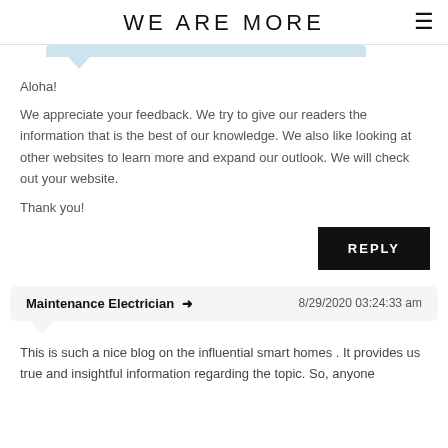WE ARE MORE
Aloha!
We appreciate your feedback. We try to give our readers the information that is the best of our knowledge. We also like looking at other websites to learn more and expand our outlook. We will check out your website.
Thank you!
REPLY
Maintenance Electrician  ➜   8/29/2020 03:24:33 am
This is such a nice blog on the influential smart homes . It provides us true and insightful information regarding the topic. So, anyone